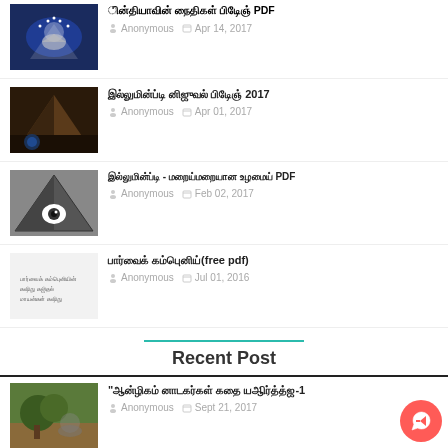Anonymous · Apr 14, 2017
Anonymous · Apr 01, 2017
Anonymous · Feb 02, 2017
Anonymous · Jul 01, 2016
Recent Post
Anonymous · Sept 21, 2017